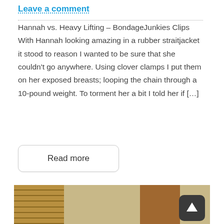Leave a comment
Hannah vs. Heavy Lifting – BondageJunkies Clips With Hannah looking amazing in a rubber straitjacket it stood to reason I wanted to be sure that she couldn't go anywhere. Using clover clamps I put them on her exposed breasts; looping the chain through a 10-pound weight. To torment her a bit I told her if […]
Read more
[Figure (photo): A photograph showing a person in a room with wooden blinds on the left, a wooden door in the background, and rope suspension rigging overhead.]